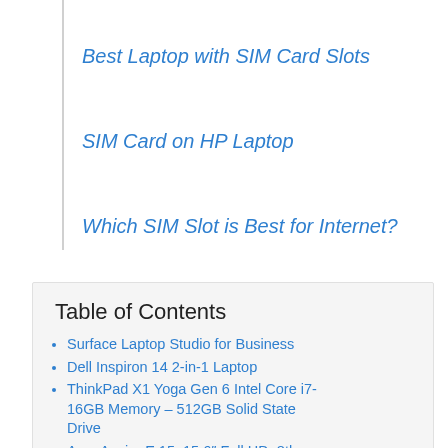Best Laptop with SIM Card Slots
SIM Card on HP Laptop
Which SIM Slot is Best for Internet?
Table of Contents
Surface Laptop Studio for Business
Dell Inspiron 14 2-in-1 Laptop
ThinkPad X1 Yoga Gen 6 Intel Core i7-16GB Memory – 512GB Solid State Drive
Acer Aspire E 15, 15.6" Full HD, 8th...